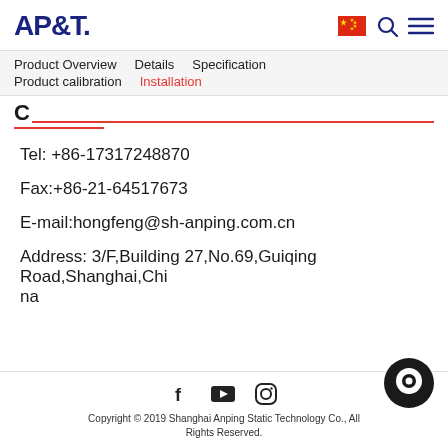AP&T.
Product Overview   Details   Specification   Product calibration   Installation
C
Tel: +86-17317248870
Fax:+86-21-64517673
E-mail:hongfeng@sh-anping.com.cn
Address: 3/F,Building 27,No.69,Guiqing Road,Shanghai,China
Copyright © 2019 Shanghai Anping Static Technology Co., All Rights Reserved.